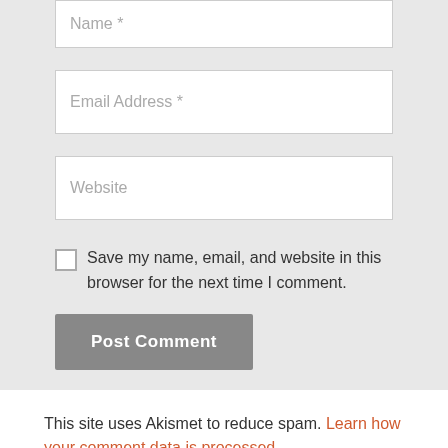[Figure (screenshot): Web form with Name, Email Address, and Website input fields on a light gray background]
Name *
Email Address *
Website
Save my name, email, and website in this browser for the next time I comment.
Post Comment
This site uses Akismet to reduce spam. Learn how your comment data is processed.